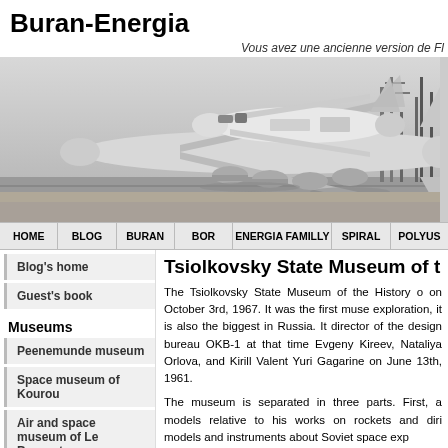Buran-Energia
Vous avez une ancienne version de Fl
[Figure (photo): Black and white photograph of the Buran space shuttle mounted on top of a large carrier aircraft (Antonov An-225), on a runway with industrial structures in the background.]
HOME | BLOG | BURAN | BOR | ENERGIA FAMILLY | SPIRAL | POLYUS
Blog's home
Guest's book
Museums
Peenemunde museum
Space museum of Kourou
Air and space museum of Le Bourget
Tsiolkovsky State Museum of t
The Tsiolkovsky State Museum of the History o on October 3rd, 1967. It was the first muse exploration, it is also the biggest in Russia. It director of the design bureau OKB-1 at that time Evgeny Kireev, Nataliya Orlova, and Kirill Valent Yuri Gagarine on June 13th, 1961.
The museum is separated in three parts. First, a models relative to his works on rockets and diri models and instruments about Soviet space exp